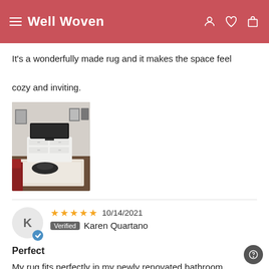Well Woven
It's a wonderfully made rug and it makes the space feel cozy and inviting.
[Figure (photo): Living room photo showing a white dresser with TV, dog lying on a pet bed, light patterned rug, and red furniture in foreground]
★★★★★  10/14/2021  Verified  Karen Quartano
Perfect
My rug fits perfectly in my newly renovated bathroom.

Great product!